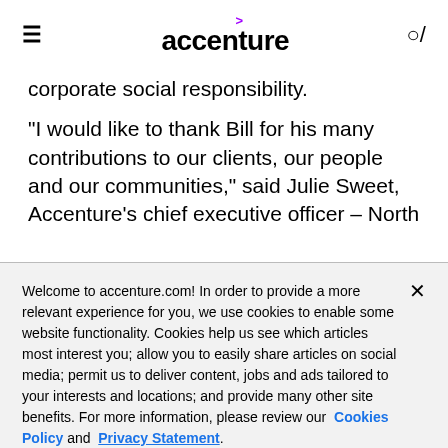accenture
corporate social responsibility.
"I would like to thank Bill for his many contributions to our clients, our people and our communities," said Julie Sweet, Accenture's chief executive officer – North
Welcome to accenture.com! In order to provide a more relevant experience for you, we use cookies to enable some website functionality. Cookies help us see which articles most interest you; allow you to easily share articles on social media; permit us to deliver content, jobs and ads tailored to your interests and locations; and provide many other site benefits. For more information, please review our Cookies Policy and Privacy Statement.